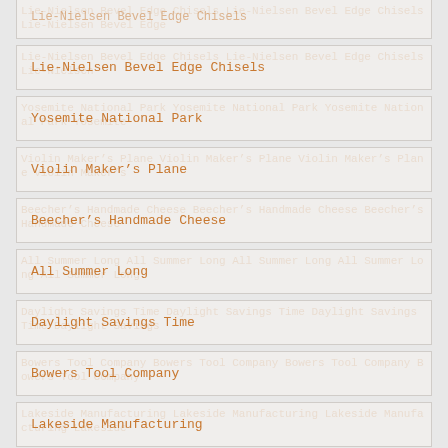Lie-Nielsen Bevel Edge Chisels
Yosemite National Park
Violin Maker’s Plane
Beecher’s Handmade Cheese
All Summer Long
Daylight Savings Time
Bowers Tool Company
Lakeside Manufacturing